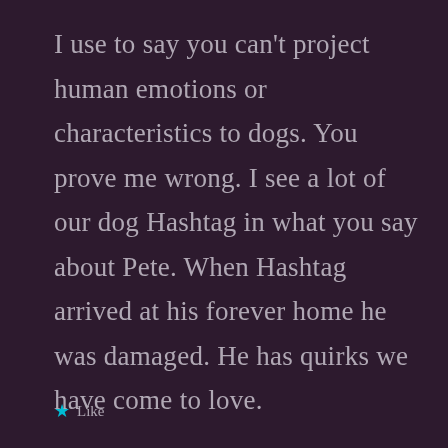I use to say you can't project human emotions or characteristics to dogs. You prove me wrong. I see a lot of our dog Hashtag in what you say about Pete. When Hashtag arrived at his forever home he was damaged. He has quirks we have come to love.
★ Like